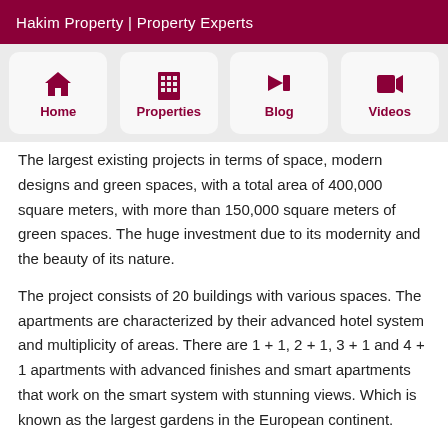Hakim Property | Property Experts
[Figure (screenshot): Navigation bar with four icons: Home, Properties, Blog, Videos]
The largest existing projects in terms of space, modern designs and green spaces, with a total area of 400,000 square meters, with more than 150,000 square meters of green spaces. The huge investment due to its modernity and the beauty of its nature.
The project consists of 20 buildings with various spaces. The apartments are characterized by their advanced hotel system and multiplicity of areas. There are 1 + 1, 2 + 1, 3 + 1 and 4 + 1 apartments with advanced finishes and smart apartments that work on the smart system with stunning views. Which is known as the largest gardens in the European continent.